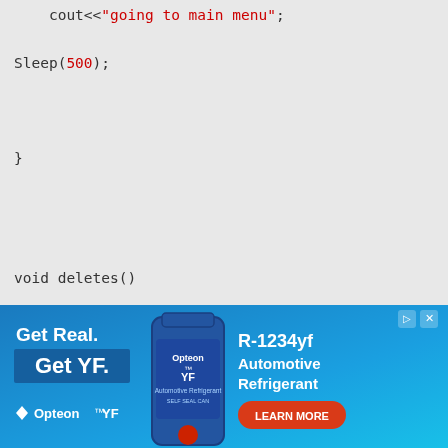cout<<"going to main menu";

Sleep(500);

}


void deletes()

{

  system("cls");

// highvideo();

  int code;
[Figure (infographic): Advertisement banner for Opteon YF Automotive Refrigerant R-1234yf. Blue background with 'Get Real. Get YF.' text on left, a blue can/bottle in center, and 'R-1234yf Automotive Refrigerant' with 'LEARN MORE' button on right.]